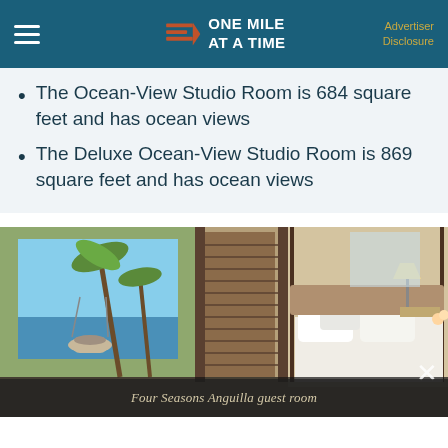ONE MILE AT A TIME | Advertiser Disclosure
The Ocean-View Studio Room is 684 square feet and has ocean views
The Deluxe Ocean-View Studio Room is 869 square feet and has ocean views
[Figure (photo): Four Seasons Anguilla guest room showing a luxury bedroom with white bedding and wooden four-poster bed, with large glass sliding doors opening to a terrace with swinging chair, palm trees, and ocean view in the background.]
Four Seasons Anguilla guest room